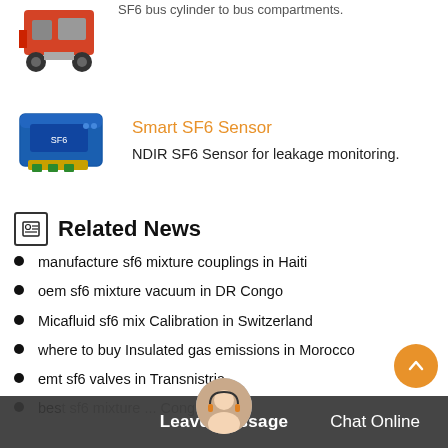[Figure (photo): Red industrial machine/vehicle, partially visible at top of page]
[Figure (photo): Blue SF6 sensor device with yellow/green terminals]
Smart SF6 Sensor
NDIR SF6 Sensor for leakage monitoring.
Related News
manufacture sf6 mixture couplings in Haiti
oem sf6 mixture vacuum in DR Congo
Micafluid sf6 mix Calibration in Switzerland
where to buy Insulated gas emissions in Morocco
emt sf6 valves in Transnistria
best sf6 mixture ... Congo
Leave Message   Chat Online